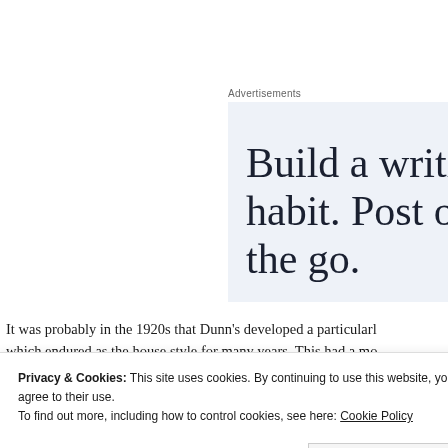Advertisements
[Figure (other): Advertisement banner with text 'Build a writing habit. Post on the go.']
It was probably in the 1920s that Dunn's developed a particular… which endured as the house style for many years. This had a mo… including open spandrels filled with leaded glass. Across the top…
Privacy & Cookies: This site uses cookies. By continuing to use this website, you agree to their use.
To find out more, including how to control cookies, see here: Cookie Policy
Close and accept